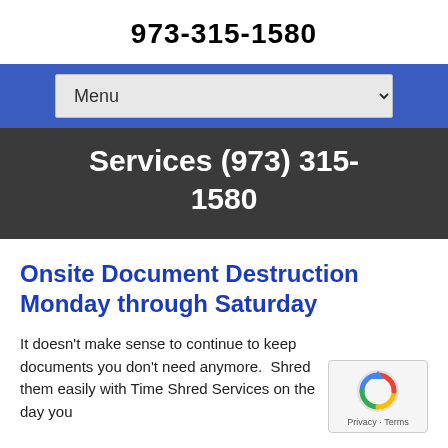973-315-1580
[Figure (screenshot): Blue navigation bar with a dropdown menu selector labeled 'Menu']
Services (973) 315-1580
Onsite Document Destruction Monday through Saturday
It doesn't make sense to continue to keep documents you don't need anymore.  Shred them easily with Time Shred Services on the day you